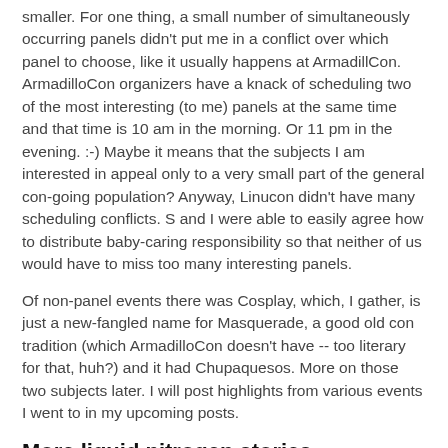smaller. For one thing, a small number of simultaneously occurring panels didn't put me in a conflict over which panel to choose, like it usually happens at ArmadillCon. ArmadilloCon organizers have a knack of scheduling two of the most interesting (to me) panels at the same time and that time is 10 am in the morning. Or 11 pm in the evening. :-) Maybe it means that the subjects I am interested in appeal only to a very small part of the general con-going population? Anyway, Linucon didn't have many scheduling conflicts. S and I were able to easily agree how to distribute baby-caring responsibility so that neither of us would have to miss too many interesting panels.
Of non-panel events there was Cosplay, which, I gather, is just a new-fangled name for Masquerade, a good old con tradition (which ArmadilloCon doesn't have -- too literary for that, huh?) and it had Chupaquesos. More on those two subjects later. I will post highlights from various events I went to in my upcoming posts.
More liquid nitrogen stories
At the closing ceremony Cheso Hoffman retold his liquid...